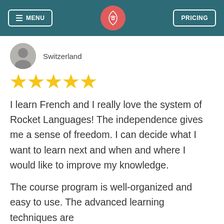MENU | [Rocket Languages logo] | PRICING
Switzerland
[Figure (illustration): Five yellow star rating icons]
I learn French and I really love the system of Rocket Languages! The independence gives me a sense of freedom. I can decide what I want to learn next and when and where I would like to improve my knowledge.
The course program is well-organized and easy to use. The advanced learning techniques are